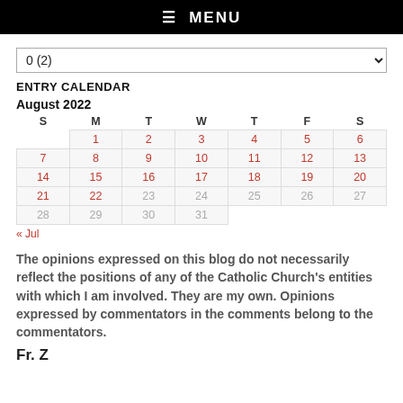☰ MENU
0  (2)
ENTRY CALENDAR
| S | M | T | W | T | F | S |
| --- | --- | --- | --- | --- | --- | --- |
|  | 1 | 2 | 3 | 4 | 5 | 6 |
| 7 | 8 | 9 | 10 | 11 | 12 | 13 |
| 14 | 15 | 16 | 17 | 18 | 19 | 20 |
| 21 | 22 | 23 | 24 | 25 | 26 | 27 |
| 28 | 29 | 30 | 31 |  |  |  |
« Jul
The opinions expressed on this blog do not necessarily reflect the positions of any of the Catholic Church's entities with which I am involved. They are my own. Opinions expressed by commentators in the comments belong to the commentators.
Fr. Z